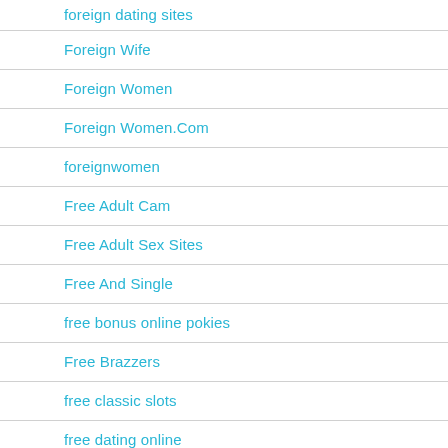foreign dating sites
Foreign Wife
Foreign Women
Foreign Women.Com
foreignwomen
Free Adult Cam
Free Adult Sex Sites
Free And Single
free bonus online pokies
Free Brazzers
free classic slots
free dating online
free dating sites 100 free